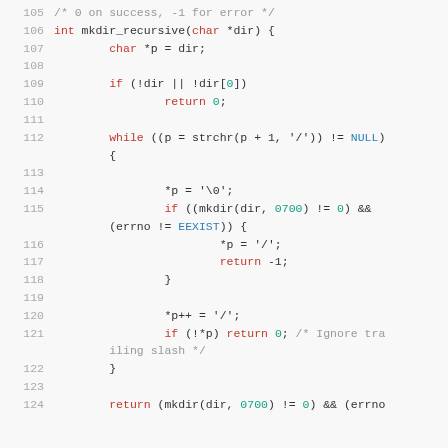Code listing showing mkdir_recursive function in C, lines 105-124